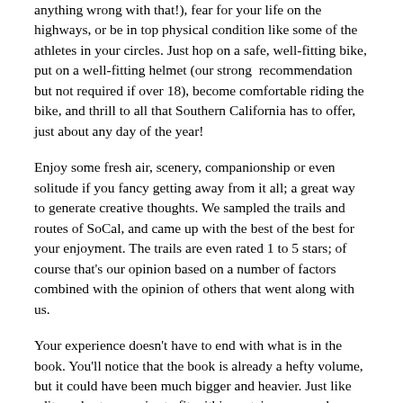anything wrong with that!), fear for your life on the highways, or be in top physical condition like some of the athletes in your circles. Just hop on a safe, well-fitting bike, put on a well-fitting helmet (our strong  recommendation but not required if over 18), become comfortable riding the bike, and thrill to all that Southern California has to offer, just about any day of the year!
Enjoy some fresh air, scenery, companionship or even solitude if you fancy getting away from it all; a great way to generate creative thoughts. We sampled the trails and routes of SoCal, and came up with the best of the best for your enjoyment. The trails are even rated 1 to 5 stars; of course that's our opinion based on a number of factors combined with the opinion of others that went along with us.
Your experience doesn't have to end with what is in the book. You'll notice that the book is already a hefty volume, but it could have been much bigger and heavier. Just like editors shorten movies to fit within certain space and criteria, the same can be done to guidebooks. While the book is the final optimized product, regard this website as the Director's Cut (or sometimes more appropriately "Deleted Scenes"), and find full versions of a few of the ride descriptions that were chosen for the editing floor because they did